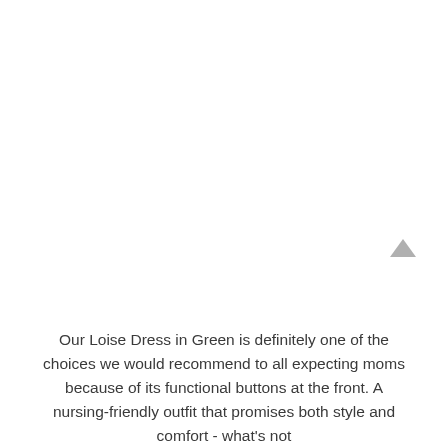[Figure (other): Large white/blank area occupying the upper portion of the page, likely where a product image of the Loise Dress in Green would appear. A scroll-to-top arrow button is visible in the lower right of this area.]
Our Loise Dress in Green is definitely one of the choices we would recommend to all expecting moms because of its functional buttons at the front. A nursing-friendly outfit that promises both style and comfort - what's not